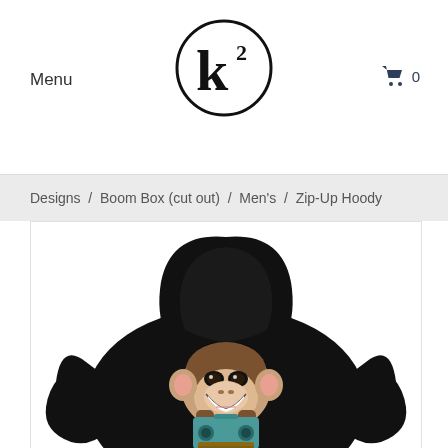Menu
[Figure (logo): k squared logo in a circle — large K with superscript 2, inside a thin black circle]
0
Designs / Boom Box (cut out) / Men's / Zip-Up Hoody
[Figure (photo): Black zip-up hoodie shown from the back, featuring a grinning cartoon chimpanzee holding a boom box printed on the back]